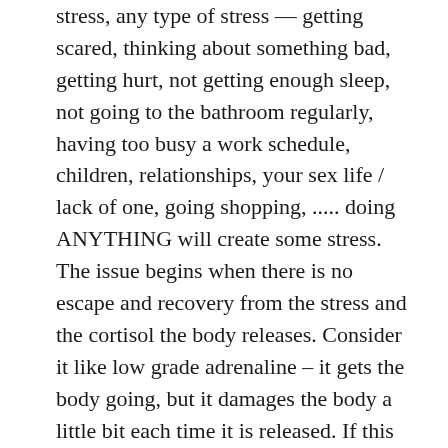stress, any type of stress — getting scared, thinking about something bad, getting hurt, not getting enough sleep, not going to the bathroom regularly, having too busy a work schedule, children, relationships, your sex life / lack of one, going shopping, ..... doing ANYTHING will create some stress. The issue begins when there is no escape and recovery from the stress and the cortisol the body releases. Consider it like low grade adrenaline – it gets the body going, but it damages the body a little bit each time it is released. If this damage is not repaired before the next stressor, the body grows weaker. This wear and tear begins to compromise function leading to disease. Getting away from stress can be a little tougher than not eating junk food for 5 days